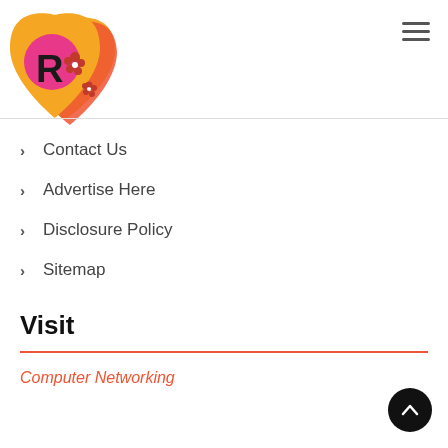[Figure (logo): Heart-shaped logo with orange and red colors, containing a stylized R letter in pink/magenta, with red flower decorations]
[Figure (other): Hamburger menu icon (three horizontal lines) in top right corner]
Contact Us
Advertise Here
Disclosure Policy
Sitemap
Visit
Computer Networking
[Figure (other): Back to top button - dark circular button with upward chevron arrow]